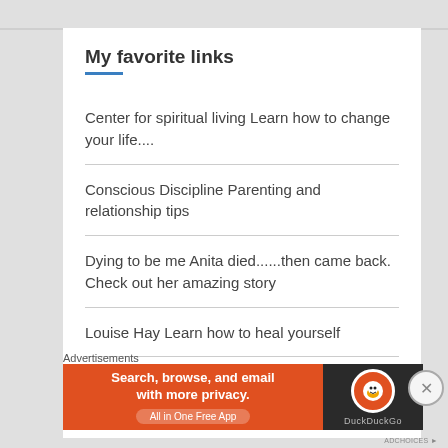My favorite links
Center for spiritual living Learn how to change your life....
Conscious Discipline Parenting and relationship tips
Dying to be me Anita died......then came back. Check out her amazing story
Louise Hay Learn how to heal yourself
Shamanic Passages A wonderful place to
Advertisements
[Figure (infographic): DuckDuckGo advertisement banner: orange background with text 'Search, browse, and email with more privacy. All in One Free App' and DuckDuckGo logo on dark background.]